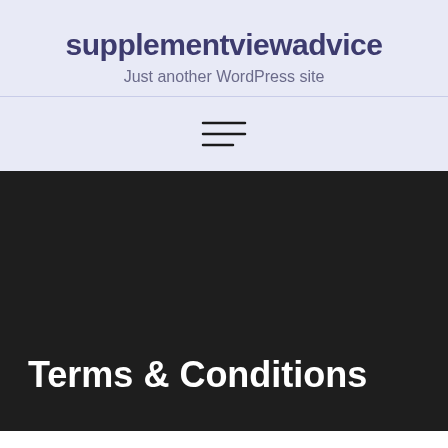supplementviewadvice
Just another WordPress site
[Figure (other): Hamburger menu icon with three horizontal lines]
Terms & Conditions